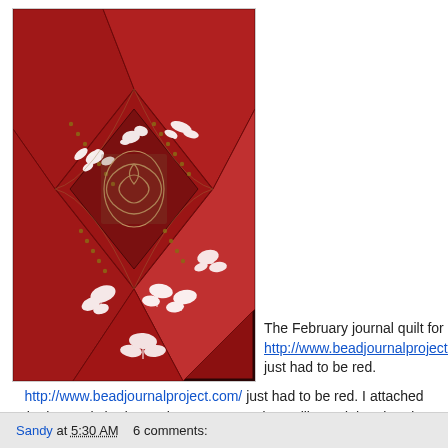[Figure (photo): A red fabric journal quilt with white lace appliqués (flowers, butterflies, heart shapes) stitched over diamond-patterned seams with metallic thread and beads. The quilt is predominantly deep red with decorative white lace motifs arranged across the surface.]
The February journal quilt for http://www.beadjournalproject.com/ just had to be red.  I attached the lace, stitched over the seams, used metallic, and then beads.
Sandy at 5:30 AM    6 comments: